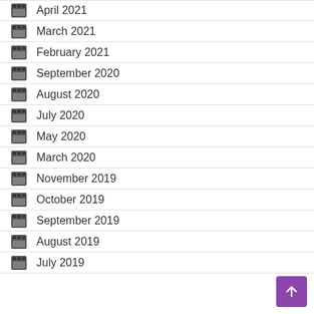April 2021
March 2021
February 2021
September 2020
August 2020
July 2020
May 2020
March 2020
November 2019
October 2019
September 2019
August 2019
July 2019